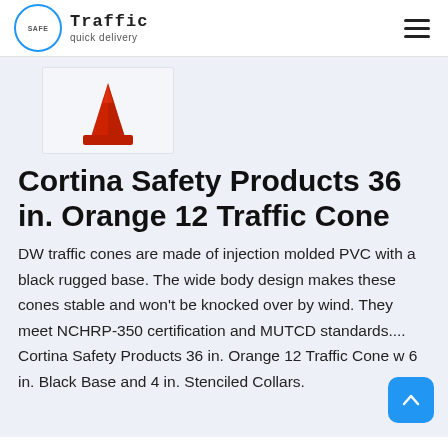Traffic quick delivery
[Figure (photo): Red traffic cone product thumbnail image]
Cortina Safety Products 36 in. Orange 12 Traffic Cone
DW traffic cones are made of injection molded PVC with a black rugged base. The wide body design makes these cones stable and won't be knocked over by wind. They meet NCHRP-350 certification and MUTCD standards.... Cortina Safety Products 36 in. Orange 12 Traffic Cone w 6 in. Black Base and 4 in. Stenciled Collars.